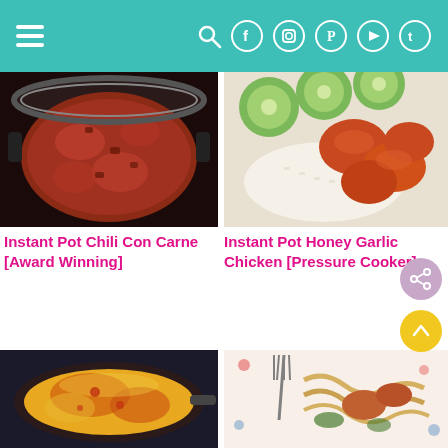Navigation bar with hamburger menu and social icons (search, facebook, instagram, pinterest, youtube, twitter)
[Figure (photo): Instant Pot with chili con carne - ground beef and beans in tomato sauce inside a pressure cooker]
[Figure (photo): Instant Pot Honey Garlic Chicken served on rice with sliced cucumber on the side]
Instant Pot Chili Con Carne [Award Winning]
Instant Pot Honey Garlic Chicken [Pressure Cooker]
[Figure (photo): Cast iron skillet with baked mac and cheese, golden browned top]
[Figure (photo): Pasta dish with chicken and vegetables on a floral plate with fork]